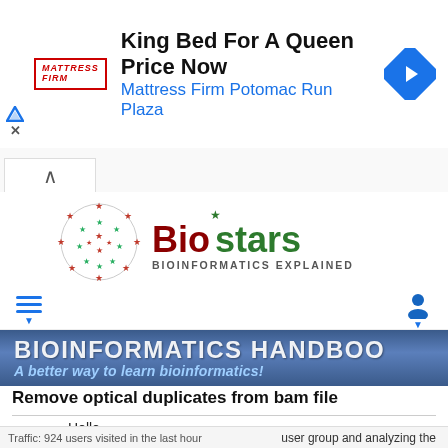[Figure (screenshot): Mattress Firm advertisement banner: 'King Bed For A Queen Price Now' with Mattress Firm Potomac Run Plaza subtitle and navigation arrow icon]
[Figure (logo): Biostars logo — globe made of red and green stars with 'Biostars BIOINFORMATICS EXPLAINED' text]
[Figure (screenshot): Navigation toolbar with hamburger menu (blue) on left and user icon on right]
[Figure (screenshot): Bioinformatics Handbook banner: 'BIOINFORMATICS HANDBOOK' title and 'A better way to learn bioinformatics!' subtitle in blue tones]
Remove optical duplicates from bam file
Hello,
user group and analyzing the
Traffic: 924 users visited in the last hour